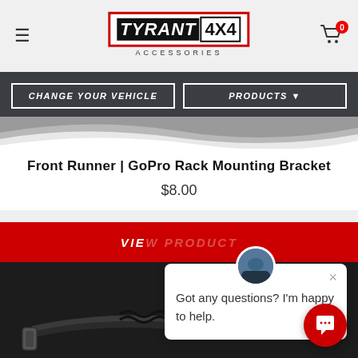Tyrant 4x4 Accessories — navigation header with logo and cart
[Figure (logo): Tyrant 4x4 Accessories logo with red border, white TYRANT text on black background, 4X4 text on white with black border, ACCESSORIES lettering below]
CHANGE YOUR VEHICLE
PRODUCTS
Front Runner | GoPro Rack Mounting Bracket
$8.00
VIEW
[Figure (photo): Black bungee/kinetic strap with carabiner hooks on dark background]
Got any questions? I'm happy to help.